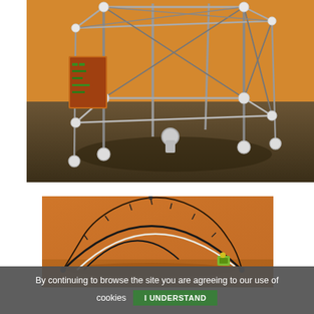[Figure (photo): Photo of a 3D printer or robotic structure made of metal rods, white plastic connectors, and electronic circuit boards on an orange background with a dark floor. The frame is a cube-like truss with diagonal cross-members.]
[Figure (photo): Photo on an orange background showing a flexible rod or wire bent into a large arc/loop shape, with a small green component or robot at one end, against an orange wall.]
By continuing to browse the site you are agreeing to our use of cookies   I UNDERSTAND